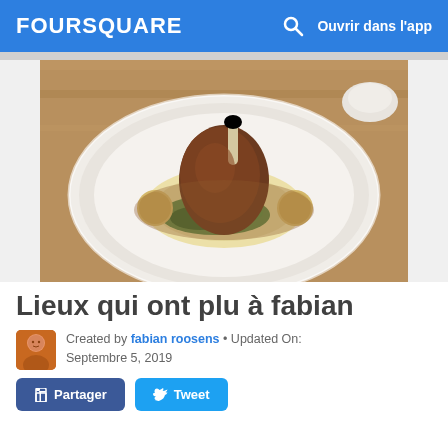FOURSQUARE  Ouvrir dans l'app
[Figure (photo): A white plate with braised meat (lamb shank or similar) served over mashed potatoes with small potatoes and green herbs, on a wooden table.]
Lieux qui ont plu à fabian
Created by fabian roosens • Updated On: Septembre 5, 2019